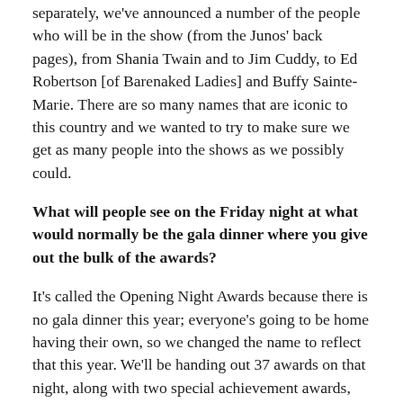separately, we've announced a number of the people who will be in the show (from the Junos' back pages), from Shania Twain and to Jim Cuddy, to Ed Robertson [of Barenaked Ladies] and Buffy Sainte-Marie. There are so many names that are iconic to this country and we wanted to try to make sure we get as many people into the shows as we possibly could.
What will people see on the Friday night at what would normally be the gala dinner where you give out the bulk of the awards?
It's called the Opening Night Awards because there is no gala dinner this year; everyone's going to be home having their own, so we changed the name to reflect that this year. We'll be handing out 37 awards on that night, along with two special achievement awards, one recognizing Pegi Cecconi with the Walt Grealis Special Achievement Award. Pegi was not able to receive that honour last year in Saskatoon. And Gary Slaight is receiving the MusiCounts